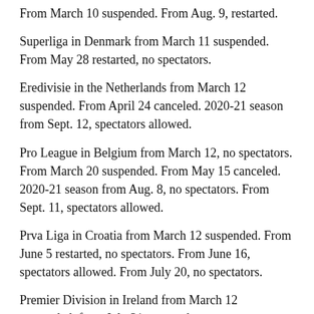From March 10 suspended. From Aug. 9, restarted.
Superliga in Denmark from March 11 suspended. From May 28 restarted, no spectators.
Eredivisie in the Netherlands from March 12 suspended. From April 24 canceled. 2020-21 season from Sept. 12, spectators allowed.
Pro League in Belgium from March 12, no spectators. From March 20 suspended. From May 15 canceled. 2020-21 season from Aug. 8, no spectators. From Sept. 11, spectators allowed.
Prva Liga in Croatia from March 12 suspended. From June 5 restarted, no spectators. From June 16, spectators allowed. From July 20, no spectators.
Premier Division in Ireland from March 12 suspended, from July 31 restarted.
First League in Czech Republic from March 12 suspended.